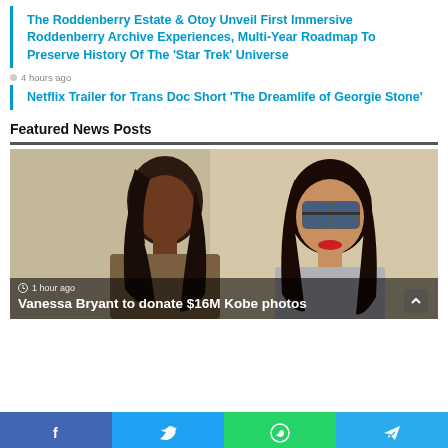The Roddenberry Estate & Otoy Unveil First Immersive Roddenberry Archive Experiences, Multi-Year Roadmap To Preserve History Of The 'Star Trek' Universe
4 hours ago
Netflix Trailer for Trans Doc Short 'The Dreamlife of Georgie Stone'
Featured News Posts
[Figure (photo): Two women walking, one with long dark hair in a brown outfit, another with oversized sunglasses and red lipstick in a grey suit]
1 hour ago
Vanessa Bryant to donate $16M Kobe photos
f  t  WhatsApp  Telegram social share bar